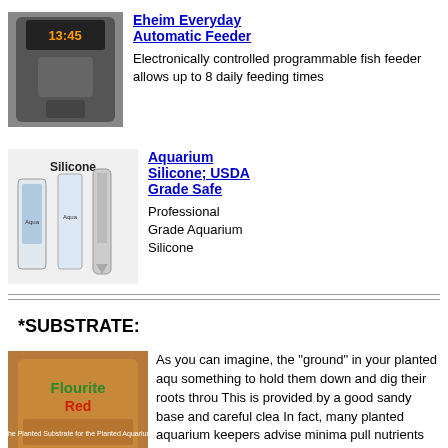[Figure (photo): Eheim Everyday Automatic Feeder product image - a dark electronic fish feeder device with LCD display showing 13:45]
Eheim Everyday Automatic Feeder
Electronically controlled programmable fish feeder allows up to 8 daily feeding times
[Figure (photo): Aquarium Silicone products - multiple bottles and tubes of silicone sealant with 'Silicone' label]
Aquarium Silicone; USDA Grade Safe
Professional Grade Aquarium Silicone
*SUBSTRATE:
[Figure (photo): Flourite Red bag - substrate product for planted aquariums]
As you can imagine, the "ground" in your planted aqu something to hold them down and dig their roots throu This is provided by a good sandy base and careful clea In fact, many planted aquarium keepers advise minima pull nutrients from fish wastes and extra fish food. O